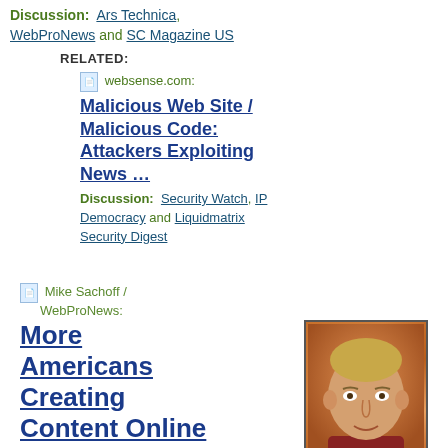Discussion:  Ars Technica, WebProNews and SC Magazine US
RELATED:
websense.com: Malicious Web Site / Malicious Code: Attackers Exploiting News …
Discussion:  Security Watch, IP Democracy and Liquidmatrix Security Digest
Mike Sachoff / WebProNews: More Americans Creating Content Online
[Figure (photo): Headshot photo of a man with short hair against an orange/brown background]
—  Thirty-Two Percent Call Themselves Broadcasters —  Close to 40 percent (38%) of Americans are watching TV shows online, 36 percent use their cell phones for entertainment and 45 percent are creating Web sites, music, videos and blogs, according to a survey from